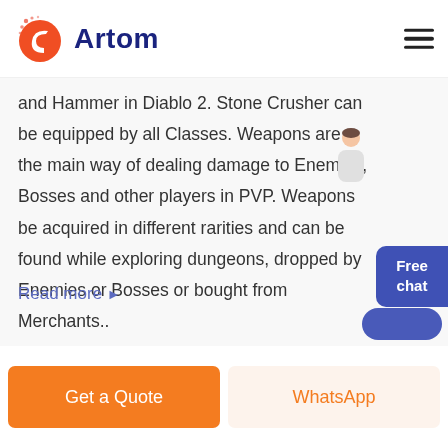Artom
and Hammer in Diablo 2. Stone Crusher can be equipped by all Classes. Weapons are the main way of dealing damage to Enemies, Bosses and other players in PVP. Weapons be acquired in different rarities and can be found while exploring dungeons, dropped by Enemies or Bosses or bought from Merchants..
Stone Crusher Modifiers
Read more ▶
Get a Quote
WhatsApp